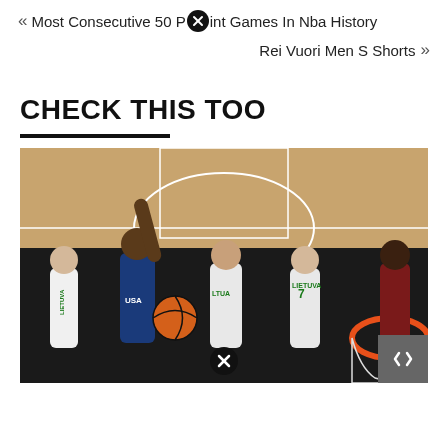« Most Consecutive 50 Point Games In Nba History
Rei Vuori Men S Shorts »
CHECK THIS TOO
[Figure (photo): Aerial view of a basketball game showing USA player driving to the basket against Lithuania (LIETUVA) players, with an orange basketball hoop visible in the lower right corner.]